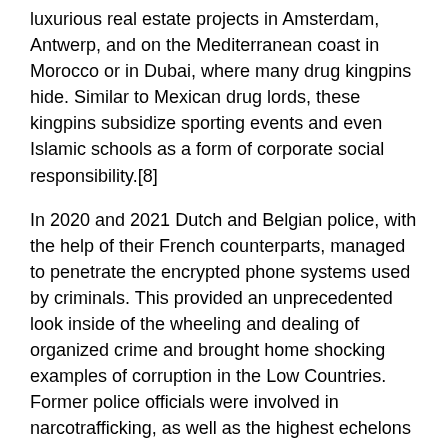luxurious real estate projects in Amsterdam, Antwerp, and on the Mediterranean coast in Morocco or in Dubai, where many drug kingpins hide. Similar to Mexican drug lords, these kingpins subsidize sporting events and even Islamic schools as a form of corporate social responsibility.[8]
In 2020 and 2021 Dutch and Belgian police, with the help of their French counterparts, managed to penetrate the encrypted phone systems used by criminals. This provided an unprecedented look inside of the wheeling and dealing of organized crime and brought home shocking examples of corruption in the Low Countries. Former police officials were involved in narcotrafficking, as well as the highest echelons in the port authorities in Rotterdam and Antwerp. The latter were in a unique position to facilitate maritime cocaine imports.
Holland as a meth-producing center in Europe with Mexicans involved
Crystal meth labs in Holland were unheard of before 2015,